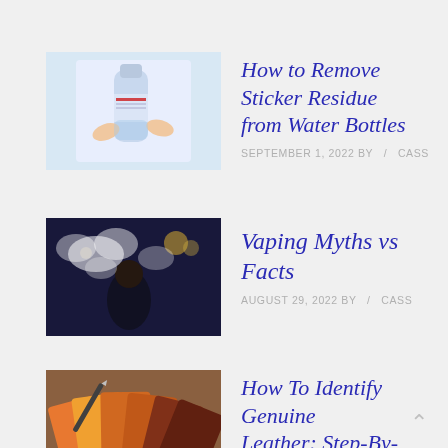[Figure (photo): Hands holding a water bottle with label]
How to Remove Sticker Residue from Water Bottles
SEPTEMBER 1, 2022 BY / CASS
[Figure (photo): Person vaping with smoke clouds in dim room]
Vaping Myths vs Facts
AUGUST 29, 2022 BY / CASS
[Figure (photo): Colorful leather swatches fanned out]
How To Identify Genuine Leather: Step-By-Step Guide
AUGUST 29, 2022 BY / CASS